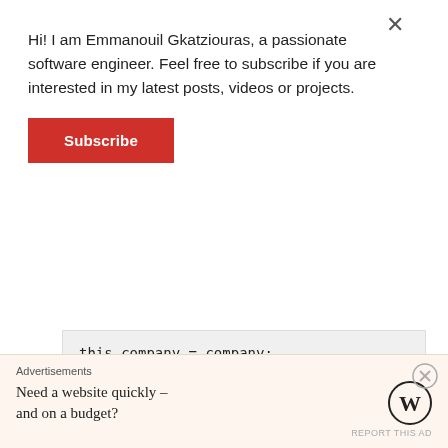Hi! I am Emmanouil Gkatziouras, a passionate software engineer. Feel free to subscribe if you are interested in my latest posts, videos or projects.
Subscribe
[Figure (screenshot): Code block showing partial Java code with 'this.company = company;' and closing braces]
The hibernate configuration
[Figure (screenshot): Partial code block for hibernate configuration]
Advertisements
Need a website quickly – and on a budget?